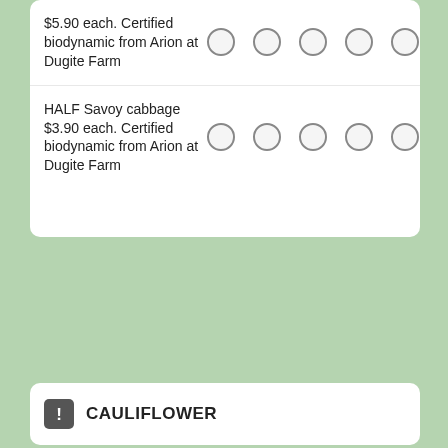$5.90 each. Certified biodynamic from Arion at Dugite Farm
HALF Savoy cabbage $3.90 each. Certified biodynamic from Arion at Dugite Farm
CAULIFLOWER